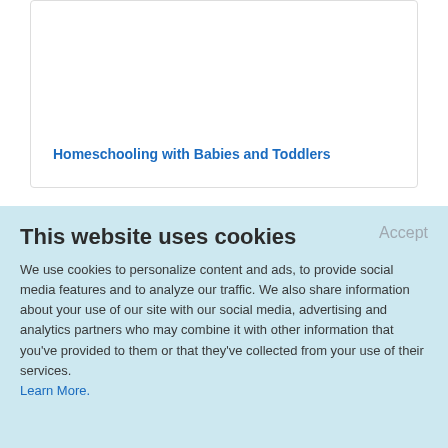Homeschooling with Babies and Toddlers
This website uses cookies
We use cookies to personalize content and ads, to provide social media features and to analyze our traffic. We also share information about your use of our site with our social media, advertising and analytics partners who may combine it with other information that you've provided to them or that they've collected from your use of their services.
Learn More.